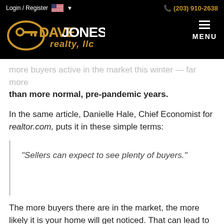Login / Register   (203) 910-2638   DAVE JONES realty, llc   MENU
more buyers active in the market this winter — far more than more normal, pre-pandemic years.
In the same article, Danielle Hale, Chief Economist for realtor.com, puts it in these simple terms:
“Sellers can expect to see plenty of buyers.”
The more buyers there are in the market, the more likely it is your home will get noticed. That can lead to a multiple-offer scenario or a potential bidding war